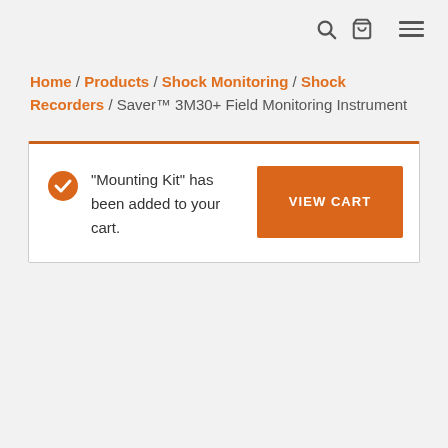[search icon] [cart icon] [menu icon]
Home / Products / Shock Monitoring / Shock Recorders / Saver™ 3M30+ Field Monitoring Instrument
"Mounting Kit" has been added to your cart.